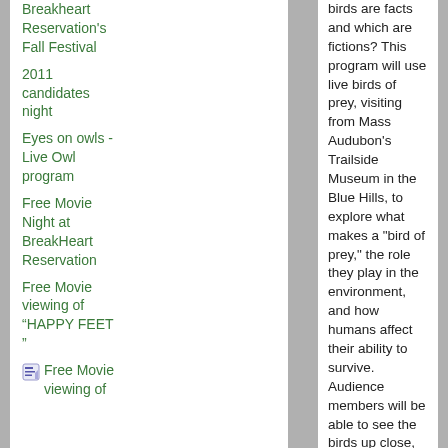Breakheart Reservation's Fall Festival
2011 candidates night
Eyes on owls - Live Owl program
Free Movie Night at BreakHeart Reservation
Free Movie viewing of “HAPPY FEET”
Free Movie viewing of
birds are facts and which are fictions? This program will use live birds of prey, visiting from Mass Audubon's Trailside Museum in the Blue Hills, to explore what makes a "bird of prey," the role they play in the environment, and how humans affect their ability to survive. Audience members will be able to see the birds up close, handle touchable natural history artifacts, and ask an experienced naturalist their questions.
Easily recognized birds of prey are a fascinating group of predators that few people fully understand. The lives of these "aerial hunters" will make for an exciting presentation that will include information on their natural history, biology, adaptations, and habitats.
Live owls, hawks, falcons and vultures await you up-close and personal – all who attend are in for great fun with educational close-up views of these birds of prey.